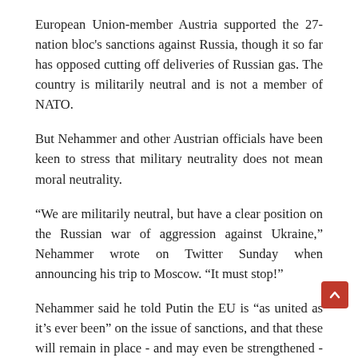European Union-member Austria supported the 27-nation bloc's sanctions against Russia, though it so far has opposed cutting off deliveries of Russian gas. The country is militarily neutral and is not a member of NATO.
But Nehammer and other Austrian officials have been keen to stress that military neutrality does not mean moral neutrality.
“We are militarily neutral, but have a clear position on the Russian war of aggression against Ukraine,” Nehammer wrote on Twitter Sunday when announcing his trip to Moscow. “It must stop!”
Nehammer said he told Putin the EU is “as united as it’s ever been” on the issue of sanctions, and that these will remain in place - and may even be strengthened - as long as Ukrainians continue to die.
Earlier Monday, Austrian foreign minister Alexander Schallenberg said Nehammer decided to make the Moscow trip after meeting with Zelenskyy in Kyiv and following contacts with the leaders of